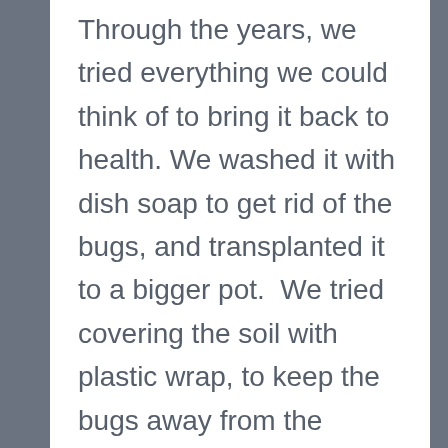Through the years, we tried everything we could think of to bring it back to health. We washed it with dish soap to get rid of the bugs, and transplanted it to a bigger pot.  We tried covering the soil with plastic wrap, to keep the bugs away from the leaves.  In desperation, we trimmed it down to almost nothing, but it came back–and so did the bugs.  I half